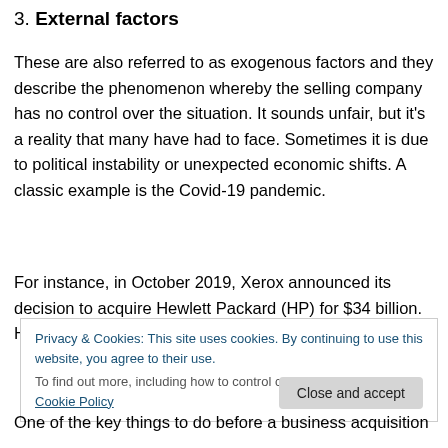3. External factors
These are also referred to as exogenous factors and they describe the phenomenon whereby the selling company has no control over the situation. It sounds unfair, but it's a reality that many have had to face. Sometimes it is due to political instability or unexpected economic shifts. A classic example is the Covid-19 pandemic.
For instance, in October 2019, Xerox announced its decision to acquire Hewlett Packard (HP) for $34 billion. However, in March 2020, the acquisition deal failed due to
Privacy & Cookies: This site uses cookies. By continuing to use this website, you agree to their use.
To find out more, including how to control cookies, see here: Cookie Policy
One of the key things to do before a business acquisition